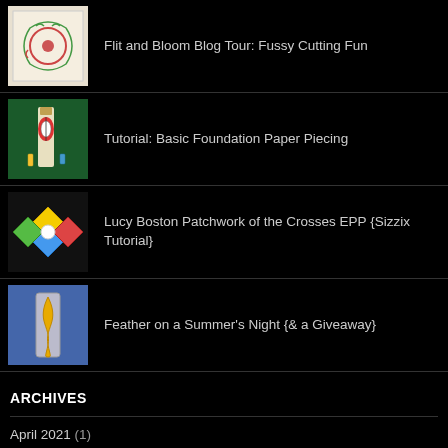Flit and Bloom Blog Tour: Fussy Cutting Fun
Tutorial: Basic Foundation Paper Piecing
Lucy Boston Patchwork of the Crosses EPP {Sizzix Tutorial}
Feather on a Summer's Night {& a Giveaway}
ARCHIVES
April 2021 (1)
March 2021 (1)
December 2020 (1)